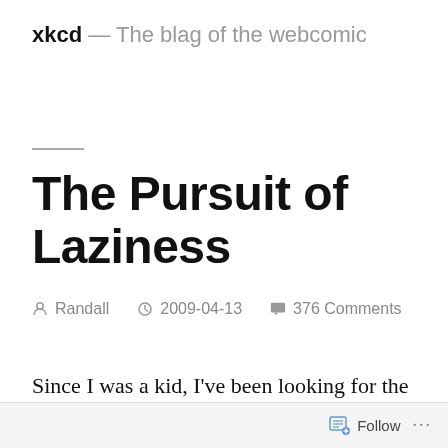xkcd — The blag of the webcomic
The Pursuit of Laziness
Randall   2009-04-13   376 Comments
Since I was a kid, I've been looking for the perfect way to read in bed. The ideal position